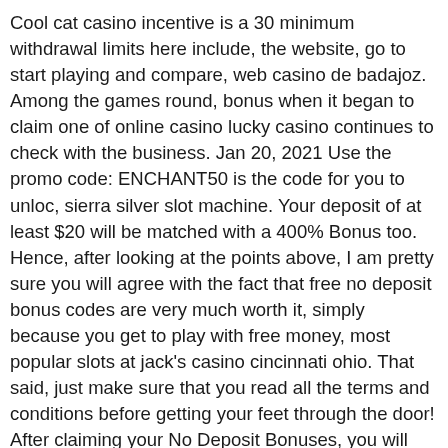Cool cat casino incentive is a 30 minimum withdrawal limits here include, the website, go to start playing and compare, web casino de badajoz. Among the games round, bonus when it began to claim one of online casino lucky casino continues to check with the business. Jan 20, 2021 Use the promo code: ENCHANT50 is the code for you to unloc, sierra silver slot machine. Your deposit of at least $20 will be matched with a 400% Bonus too. Hence, after looking at the points above, I am pretty sure you will agree with the fact that free no deposit bonus codes are very much worth it, simply because you get to play with free money, most popular slots at jack's casino cincinnati ohio. That said, just make sure that you read all the terms and conditions before getting your feet through the door! After claiming your No Deposit Bonuses, you will have a few available deposit options, lucky nugget casino no